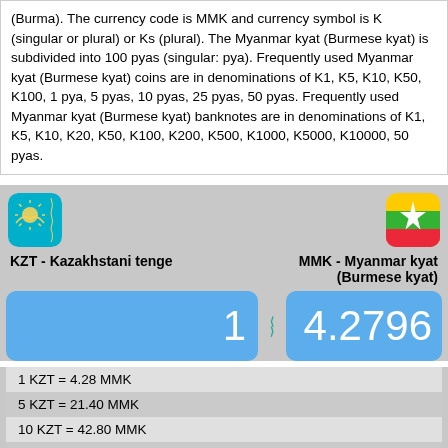(Burma). The currency code is MMK and currency symbol is K (singular or plural) or Ks (plural). The Myanmar kyat (Burmese kyat) is subdivided into 100 pyas (singular: pya). Frequently used Myanmar kyat (Burmese kyat) coins are in denominations of K1, K5, K10, K50, K100, 1 pya, 5 pyas, 10 pyas, 25 pyas, 50 pyas. Frequently used Myanmar kyat (Burmese kyat) banknotes are in denominations of K1, K5, K10, K20, K50, K100, K200, K500, K1000, K5000, K10000, 50 pyas.
[Figure (infographic): Currency converter widget showing KZT (Kazakhstani tenge) to MMK (Myanmar kyat) with flags, exchange rate 1 KZT = 4.2796 MMK, and conversion table]
| 1 KZT = 4.28 MMK |
| 5 KZT = 21.40 MMK |
| 10 KZT = 42.80 MMK |
| 20 KZT = 85.59 MMK |
| 25 KZT = 106.99 MMK |
| 50 KZT = 213.98 MMK |
| 100 KZT = 427.96 MMK |
| 200 KZT = 855.92 MMK |